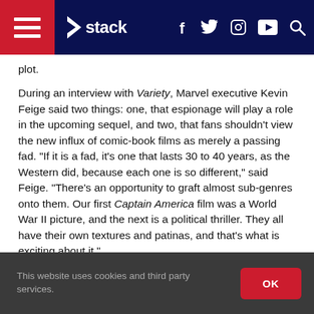stack [navigation bar with logo, social icons]
plot.
During an interview with Variety, Marvel executive Kevin Feige said two things: one, that espionage will play a role in the upcoming sequel, and two, that fans shouldn’t view the new influx of comic-book films as merely a passing fad. “If it is a fad, it’s one that lasts 30 to 40 years, as the Western did, because each one is so different,” said Feige. “There’s an opportunity to graft almost sub-genres onto them. Our first Captain America film was a World War II picture, and the next is a political thriller. They all have their own textures and patinas, and that’s what is exciting about it.”
This website uses cookies and third party services. OK